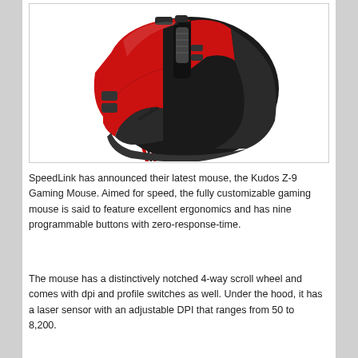[Figure (photo): A red and black SpeedLink Kudos Z-9 Gaming Mouse photographed from above, showing red side panels, black scroll wheel area, and a red and black cable extending from the front.]
SpeedLink has announced their latest mouse, the Kudos Z-9 Gaming Mouse. Aimed for speed, the fully customizable gaming mouse is said to feature excellent ergonomics and has nine programmable buttons with zero-response-time.
The mouse has a distinctively notched 4-way scroll wheel and comes with dpi and profile switches as well. Under the hood, it has a laser sensor with an adjustable DPI that ranges from 50 to 8,200.